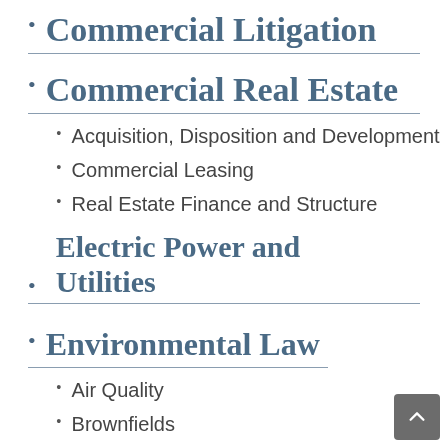Commercial Litigation
Commercial Real Estate
Acquisition, Disposition and Development
Commercial Leasing
Real Estate Finance and Structure
Electric Power and Utilities
Environmental Law
Air Quality
Brownfields
Endangered Species and NEPA